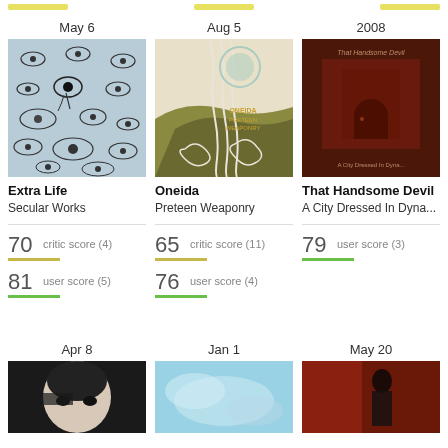May 6
[Figure (illustration): Album art for Extra Life - Secular Works: blue background covered with drawn eye illustrations]
Extra Life
Secular Works
70  critic score (4)
81  user score (5)
Aug 5
[Figure (illustration): Album art for Oneida - Preteen Weaponry: abstract flowing landscape illustration with swirling lines]
Oneida
Preteen Weaponry
65  critic score (11)
76  user score (4)
2008
[Figure (illustration): Album art for That Handsome Devil - A City Dressed In Dyna...: dark red painting of a building]
That Handsome Devil
A City Dressed In Dyna...
79  user score (3)
Apr 8
[Figure (photo): Black and white photo of a person's face with dark hair covering one eye]
Jan 1
[Figure (photo): Light blue/teal blurred landscape or sky photograph]
May 20
[Figure (photo): Person standing in a red-lit interior, wearing dark clothing]